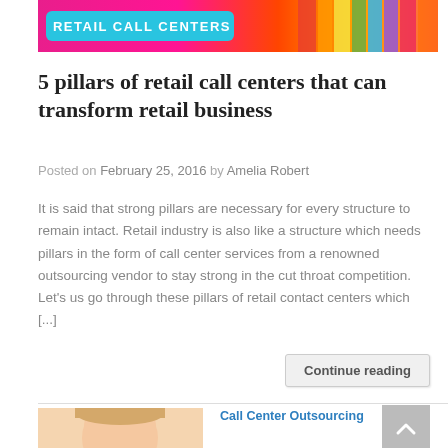[Figure (photo): Banner image for Retail Call Centers blog with colorful background and a cyan/blue pill-shaped label reading 'Retail Call Centers']
5 pillars of retail call centers that can transform retail business
Posted on February 25, 2016 by Amelia Robert
It is said that strong pillars are necessary for every structure to remain intact. Retail industry is also like a structure which needs pillars in the form of call center services from a renowned outsourcing vendor to stay strong in the cut throat competition. Let's us go through these pillars of retail contact centers which [...]
Continue reading
[Figure (photo): Thumbnail image of a woman's face on the left and a globe icon on the right with text 'Call Center Outsourcing' in blue]